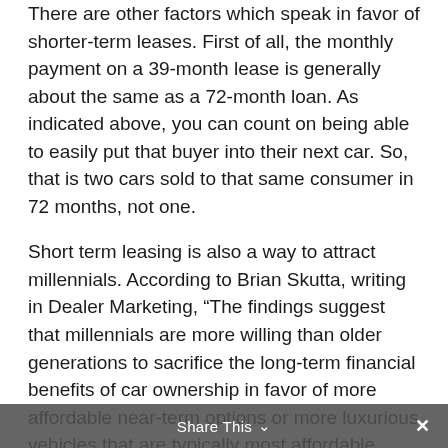There are other factors which speak in favor of shorter-term leases. First of all, the monthly payment on a 39-month lease is generally about the same as a 72-month loan. As indicated above, you can count on being able to easily put that buyer into their next car. So, that is two cars sold to that same consumer in 72 months, not one.
Short term leasing is also a way to attract millennials. According to Brian Skutta, writing in Dealer Marketing, “The findings suggest that millennials are more willing than older generations to sacrifice the long-term financial benefits of car ownership in favor of more affordable near-term options or more luxurious vehicles that are typically most affordable through leasing. This is really good news as dealers seek to capture and retain millennial-generation buyers.” (https://www.dealermarketing.com/leasing-and-
Share This